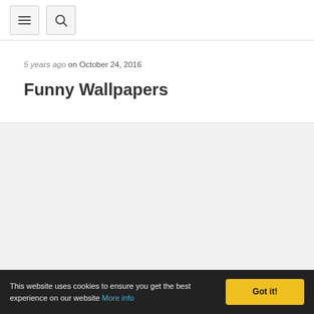Navigation bar with menu and search buttons
5 years ago on October 24, 2016
Funny Wallpapers
This website uses cookies to ensure you get the best experience on our website More info
Got it!